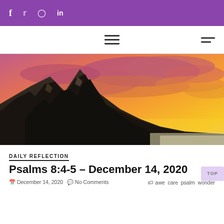f  twitter  instagram  in
[Figure (illustration): Hamburger menu icons in navigation bar]
[Figure (photo): Dramatic sunset landscape with dark rocky mountain peaks in the foreground and vivid orange, red, pink, and yellow clouds in the sky]
DAILY REFLECTION
Psalms 8:4-5 – December 14, 2020
December 14, 2020   No Comments   awe  care  psalm  wonder